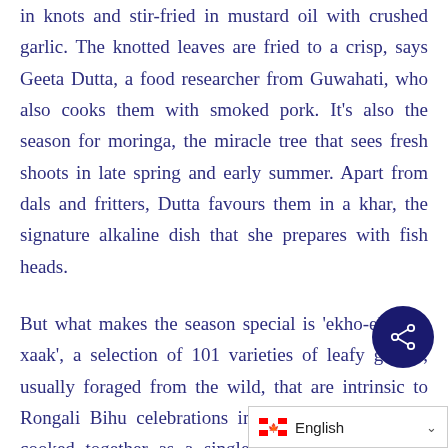in knots and stir-fried in mustard oil with crushed garlic. The knotted leaves are fried to a crisp, says Geeta Dutta, a food researcher from Guwahati, who also cooks them with smoked pork. It's also the season for moringa, the miracle tree that sees fresh shoots in late spring and early summer. Apart from dals and fritters, Dutta favours them in a khar, the signature alkaline dish that she prepares with fish heads.
But what makes the season special is 'ekho-ek bidh xaak', a selection of 101 varieties of leafy greens, usually foraged from the wild, that are intrinsic to Rongali Bihu celebrations in April. The herbs are cooked together as a single dish with garlic and chillies and is a customary item on the day as it is said to